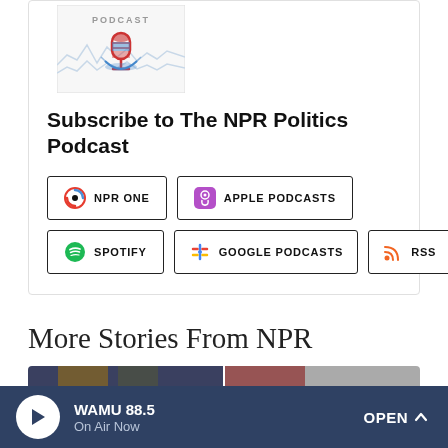[Figure (logo): NPR Politics Podcast logo with microphone icon and waveform lines]
Subscribe to The NPR Politics Podcast
NPR ONE
APPLE PODCASTS
SPOTIFY
GOOGLE PODCASTS
RSS
More Stories From NPR
[Figure (photo): Two side-by-side photos of people, partially visible, cut at bottom of page]
WAMU 88.5
On Air Now
OPEN